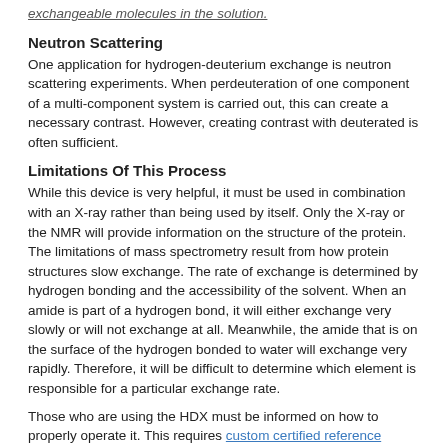exchangeable molecules in the solution.
Neutron Scattering
One application for hydrogen-deuterium exchange is neutron scattering experiments. When perdeuteration of one component of a multi-component system is carried out, this can create a necessary contrast. However, creating contrast with deuterated is often sufficient.
Limitations Of This Process
While this device is very helpful, it must be used in combination with an X-ray rather than being used by itself. Only the X-ray or the NMR will provide information on the structure of the protein. The limitations of mass spectrometry result from how protein structures slow exchange. The rate of exchange is determined by hydrogen bonding and the accessibility of the solvent. When an amide is part of a hydrogen bond, it will either exchange very slowly or will not exchange at all. Meanwhile, the amide that is on the surface of the hydrogen bonded to water will exchange very rapidly. Therefore, it will be difficult to determine which element is responsible for a particular exchange rate.
Those who are using the HDX must be informed on how to properly operate it. This requires custom certified reference materials. However, with the proper information and the right equipment, it is possible to understand how proteins and microscopic molecules interact with each other.
Share
[Figure (other): Social media share icons: Facebook, Twitter, Google+, LinkedIn]